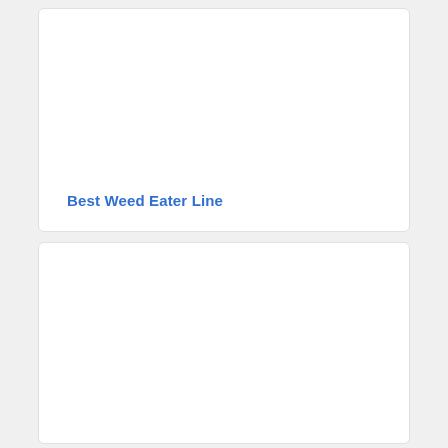[Figure (other): White card panel with no visible image content, containing a blue bold link/title at the bottom reading 'Best Weed Eater Line']
Best Weed Eater Line
[Figure (other): White card panel with no visible image content]